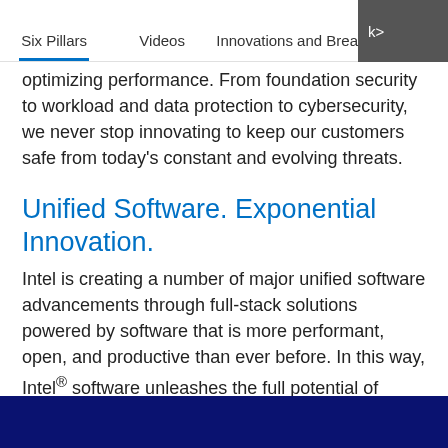Six Pillars    Videos    Innovations and Brea…
optimizing performance. From foundation security to workload and data protection to cybersecurity, we never stop innovating to keep our customers safe from today's constant and evolving threats.
Unified Software. Exponential Innovation.
Intel is creating a number of major unified software advancements through full-stack solutions powered by software that is more performant, open, and productive than ever before. In this way, Intel® software unleashes the full potential of hardware across all workloads, domains and architectures.